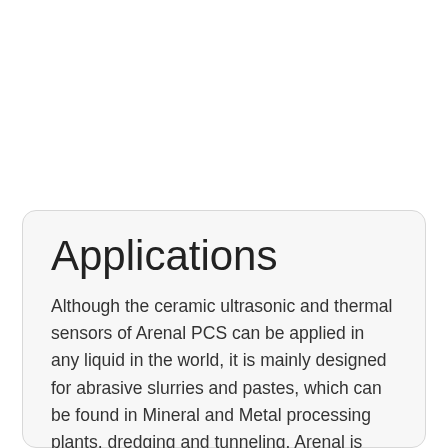Applications
Although the ceramic ultrasonic and thermal sensors of Arenal PCS can be applied in any liquid in the world, it is mainly designed for abrasive slurries and pastes, which can be found in Mineral and Metal processing plants, dredging and tunneling. Arenal is actively involved in industrial slurries, like in CMP, pigment and catalysts slurries and battery pastes and potato starch slurries.